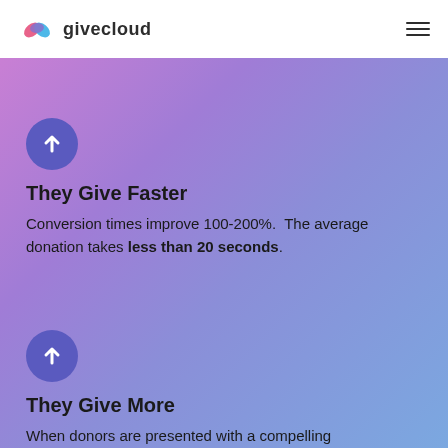[Figure (logo): Givecloud logo with colorful cloud icon and text 'givecloud']
[Figure (other): Hamburger menu icon (three horizontal lines)]
[Figure (other): Blue-purple circle with white upward arrow icon]
They Give Faster
Conversion times improve 100-200%.  The average donation takes less than 20 seconds.
[Figure (other): Blue-purple circle with white upward arrow icon]
They Give More
When donors are presented with a compelling